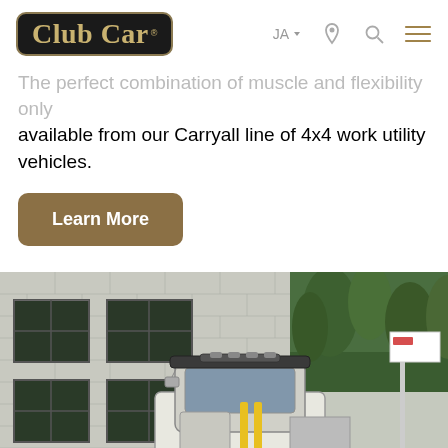Club Car — JA  navigation icons
The perfect combination of muscle and flexibility only available from our Carryall line of 4x4 work utility vehicles.
Learn More
[Figure (photo): A Club Car utility vehicle (Carryall) with enclosed cab, roof-mounted lights, parked in front of a concrete block building with trees in the background.]